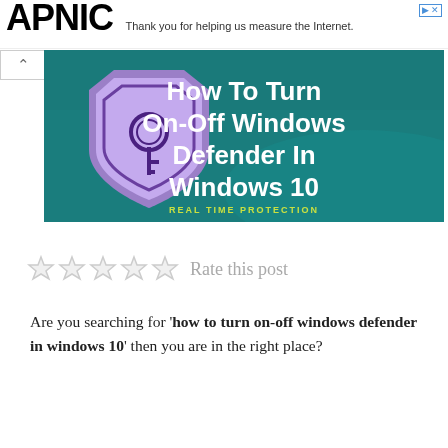APNIC — Thank you for helping us measure the Internet.
[Figure (illustration): Promotional image with teal background showing a purple shield with a key icon. Text reads: 'How To Turn On-Off Windows Defender In Windows 10' and 'REAL TIME PROTECTION']
Rate this post
Are you searching for 'how to turn on-off windows defender in windows 10' then you are in the right place?